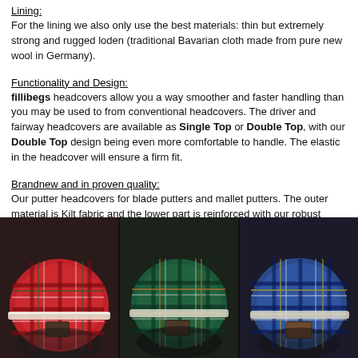Lining:
For the lining we also only use the best materials: thin but extremely strong and rugged loden (traditional Bavarian cloth made from pure new wool in Germany).
Functionality and Design:
fillibegs headcovers allow you a way smoother and faster handling than you may be used to from conventional headcovers. The driver and fairway headcovers are available as Single Top or Double Top, with our Double Top design being even more comfortable to handle. The elastic in the headcover will ensure a firm fit.
Brandnew and in proven quality:
Our putter headcovers for blade putters and mallet putters. The outer material is Kilt fabric and the lower part is reinforced with our robust loden.
[Figure (photo): Three tartan/plaid putter headcovers shown side by side on a dark background: red tartan on the left, green tartan in the center, blue tartan on the right.]